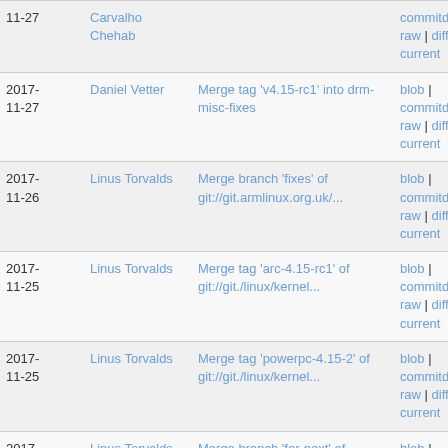| Date | Author | Commit message | Links |
| --- | --- | --- | --- |
| 2017-11-27 | Carvalho Chehab |  | commitdiff | raw | diff to current |
| 2017-11-27 | Daniel Vetter | Merge tag 'v4.15-rc1' into drm-misc-fixes | blob | commitdiff | raw | diff to current |
| 2017-11-26 | Linus Torvalds | Merge branch 'fixes' of git://git.armlinux.org.uk/... | blob | commitdiff | raw | diff to current |
| 2017-11-25 | Linus Torvalds | Merge tag 'arc-4.15-rc1' of git://git./linux/kernel... | blob | commitdiff | raw | diff to current |
| 2017-11-25 | Linus Torvalds | Merge tag 'powerpc-4.15-2' of git://git./linux/kernel... | blob | commitdiff | raw | diff to current |
| 2017-11-25 | Linus Torvalds | Merge branch 'for-next' of git://git./linux/kernel... | blob | commitdiff | raw | diff to |